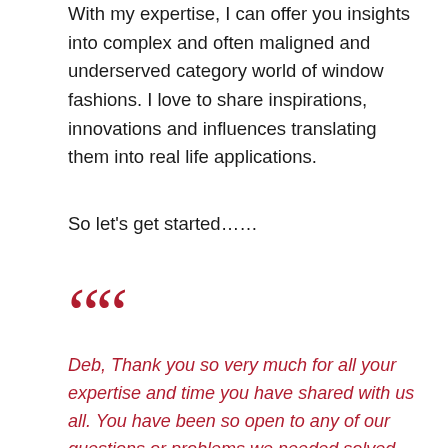With my expertise, I can offer you insights into complex and often maligned and underserved category world of window fashions. I love to share inspirations, innovations and influences translating them into real life applications.
So let’s get started…..
[Figure (illustration): Large red decorative opening quotation marks]
Deb, Thank you so very much for all your expertise and time you have shared with us all. You have been so open to any of our questions or problems we needed solved and that has only added to the wealth of information you’ve provided in this class. I can say for certain that this program has gone above and beyond